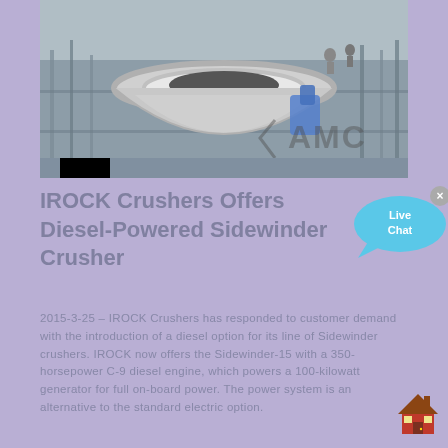[Figure (photo): Industrial cone crusher equipment (Sidewinder crusher) on a construction/installation site, with scaffolding and workers visible. AMC logo watermark visible in lower right of image.]
IROCK Crushers Offers Diesel-Powered Sidewinder Crusher
[Figure (other): Live Chat speech bubble widget with cyan/blue color, showing 'Live Chat' text and an X close button]
2015-3-25 – IROCK Crushers has responded to customer demand with the introduction of a diesel option for its line of Sidewinder crushers. IROCK now offers the Sidewinder-15 with a 350-horsepower C-9 diesel engine, which powers a 100-kilowatt generator for full on-board power. The power system is an alternative to the standard electric option.
[Figure (illustration): Small house/home icon illustration in red and brown colors]